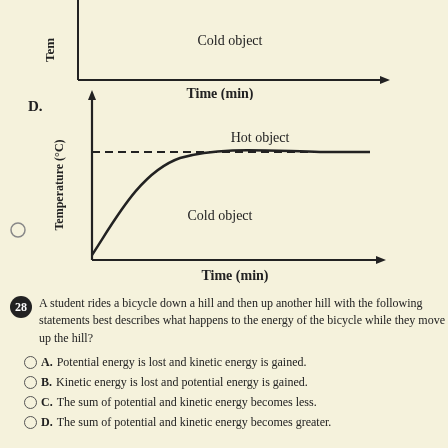[Figure (continuous-plot): Top partial chart (cropped) showing temperature vs time with 'Cold object' label and 'Time (min)' x-axis label]
D.
[Figure (continuous-plot): Chart D: Temperature (°C) vs Time (min). Hot object shown as dashed horizontal line near top. Cold object shown as rising curve approaching the dashed line asymptotically.]
A student rides a bicycle down a hill and then up another hill with the following statements best describes what happens to the energy of the bicycle while they move up the hill?
A. Potential energy is lost and kinetic energy is gained.
B. Kinetic energy is lost and potential energy is gained.
C. The sum of potential and kinetic energy becomes less.
D. The sum of potential and kinetic energy becomes greater.